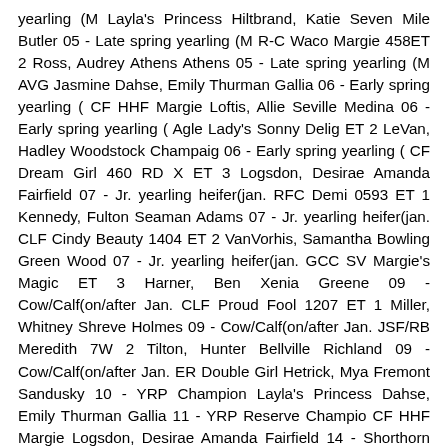yearling (M Layla's Princess Hiltbrand, Katie Seven Mile Butler 05 - Late spring yearling (M R-C Waco Margie 458ET 2 Ross, Audrey Athens Athens 05 - Late spring yearling (M AVG Jasmine Dahse, Emily Thurman Gallia 06 - Early spring yearling ( CF HHF Margie Loftis, Allie Seville Medina 06 - Early spring yearling ( Agle Lady's Sonny Delig ET 2 LeVan, Hadley Woodstock Champaig 06 - Early spring yearling ( CF Dream Girl 460 RD X ET 3 Logsdon, Desirae Amanda Fairfield 07 - Jr. yearling heifer(jan. RFC Demi 0593 ET 1 Kennedy, Fulton Seaman Adams 07 - Jr. yearling heifer(jan. CLF Cindy Beauty 1404 ET 2 VanVorhis, Samantha Bowling Green Wood 07 - Jr. yearling heifer(jan. GCC SV Margie's Magic ET 3 Harner, Ben Xenia Greene 09 - Cow/Calf(on/after Jan. CLF Proud Fool 1207 ET 1 Miller, Whitney Shreve Holmes 09 - Cow/Calf(on/after Jan. JSF/RB Meredith 7W 2 Tilton, Hunter Bellville Richland 09 - Cow/Calf(on/after Jan. ER Double Girl Hetrick, Mya Fremont Sandusky 10 - YRP Champion Layla's Princess Dahse, Emily Thurman Gallia 11 - YRP Reserve Champio CF HHF Margie Logsdon, Desirae Amanda Fairfield 14 - Shorthorn Plus Sr. calf( CYT Blue Crystalleen Gerdeman, Taylor Ottawa Putnam 16 - Shorthorn Plus late Sp. Darlee's Sweet Money 1 Burchett, Mary London Madison 16 - Shorthorn Plus late